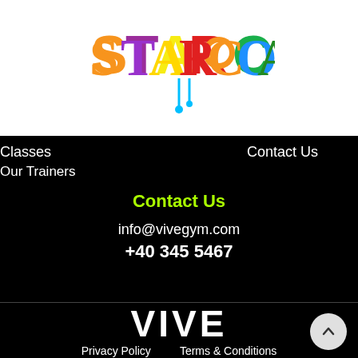[Figure (logo): STARCOACH colorful logo with paint drip design]
Classes
Contact Us
Our Trainers
Contact Us
info@vivegym.com
+40 345 5467
[Figure (logo): VIVE bold white text logo]
Privacy Policy
Terms & Conditions